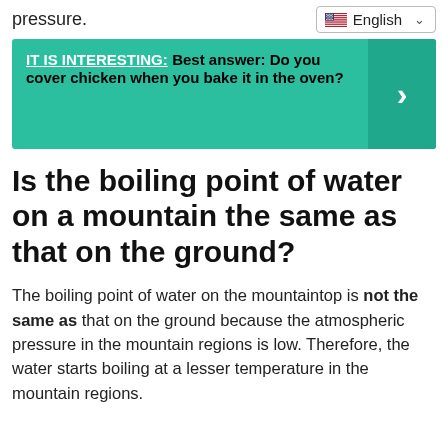pressure.
English
IT IS INTERESTING:  Best answer: Do you cover chicken when you bake it in the oven?
Is the boiling point of water on a mountain the same as that on the ground?
The boiling point of water on the mountaintop is not the same as that on the ground because the atmospheric pressure in the mountain regions is low. Therefore, the water starts boiling at a lesser temperature in the mountain regions.